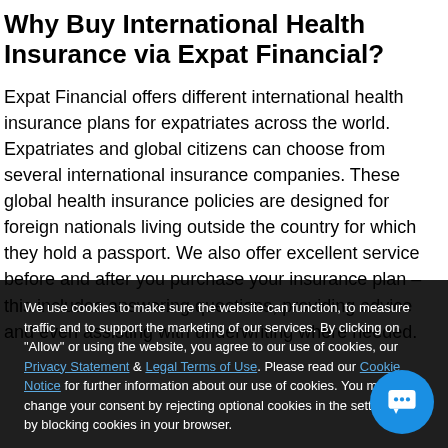Why Buy International Health Insurance via Expat Financial?
Expat Financial offers different international health insurance plans for expatriates across the world. Expatriates and global citizens can choose from several international insurance companies. These global health insurance policies are designed for foreign nationals living outside the country for which they hold a passport. We also offer excellent service before and after you purchase your insurance plan – this includes answering questions, providing advice and even assisting with underwriting where needed.
Is Buying International Health Insurance via Expat Financial a Wise Choice?
For expatriates across the world, there are different international health insurance plans. Expatriates and global citizens can
We use cookies to make sure the website can function, to measure traffic and to support the marketing of our services. By clicking on "Allow" or using the website, you agree to our use of cookies, our Privacy Statement & Legal Terms of Use. Please read our Cookie Notice for further information about our use of cookies. You may change your consent by rejecting optional cookies in the settings or by blocking cookies in your browser.